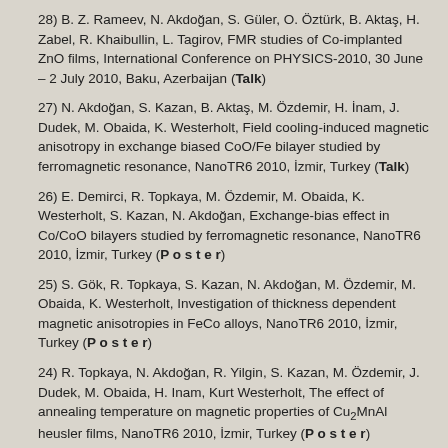28) B. Z. Rameev, N. Akdoğan, S. Güler, O. Öztürk, B. Aktaş, H. Zabel, R. Khaibullin, L. Tagirov, FMR studies of Co-implanted ZnO films, International Conference on PHYSICS-2010, 30 June – 2 July 2010, Baku, Azerbaijan (Talk)
27) N. Akdoğan, S. Kazan, B. Aktaş, M. Özdemir, H. İnam, J. Dudek, M. Obaida, K. Westerholt, Field cooling-induced magnetic anisotropy in exchange biased CoO/Fe bilayer studied by ferromagnetic resonance, NanoTR6 2010, İzmir, Turkey (Talk)
26) E. Demirci, R. Topkaya, M. Özdemir, M. Obaida, K. Westerholt, S. Kazan, N. Akdoğan, Exchange-bias effect in Co/CoO bilayers studied by ferromagnetic resonance, NanoTR6 2010, İzmir, Turkey (Poster)
25) S. Gök, R. Topkaya, S. Kazan, N. Akdoğan, M. Özdemir, M. Obaida, K. Westerholt, Investigation of thickness dependent magnetic anisotropies in FeCo alloys, NanoTR6 2010, İzmir, Turkey (Poster)
24) R. Topkaya, N. Akdoğan, R. Yilgin, S. Kazan, M. Özdemir, J. Dudek, M. Obaida, H. Inam, Kurt Westerholt, The effect of annealing temperature on magnetic properties of Cu2MnAl heusler films, NanoTR6 2010, İzmir, Turkey (Poster)
23) M. Öztürk, R. Topkaya, M. Özdemir, M. Obaida, K. Westerholt, S. Kazan, N. Akdoğan, Effect of exchange bias on magnetic anisotropies in Fe/CoO